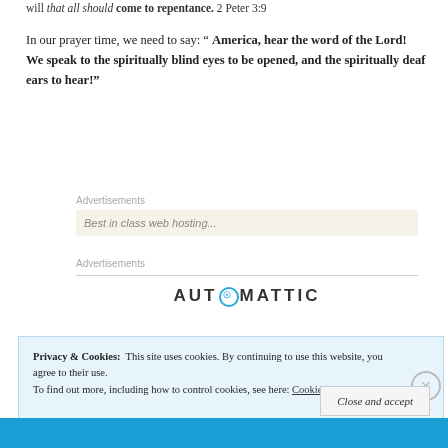will that all should come to repentance. 2 Peter 3:9
In our prayer time, we need to say: “ America, hear the word of the Lord!  We speak to the spiritually blind eyes to be opened, and the spiritually deaf ears to hear!”
Advertisements
Advertisements
AUTOMATTIC
Privacy & Cookies:  This site uses cookies. By continuing to use this website, you agree to their use.
To find out more, including how to control cookies, see here: Cookie Policy
Close and accept